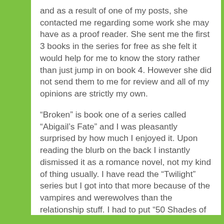and as a result of one of my posts, she contacted me regarding some work she may have as a proof reader. She sent me the first 3 books in the series for free as she felt it would help for me to know the story rather than just jump in on book 4. However she did not send them to me for review and all of my opinions are strictly my own.
“Broken” is book one of a series called “Abigail’s Fate” and I was pleasantly surprised by how much I enjoyed it. Upon reading the blurb on the back I instantly dismissed it as a romance novel, not my kind of thing usually. I have read the “Twilight” series but I got into that more because of the vampires and werewolves than the relationship stuff. I had to put “50 Shades of Grey” down after the first chapter due to how awful the writing is. However I read “Broken” in 2 sittings. I didn’t intend to as I was reading it when I went to bed but kept thinking “just one more chapter” and before I knew it, it was far later than it should be!